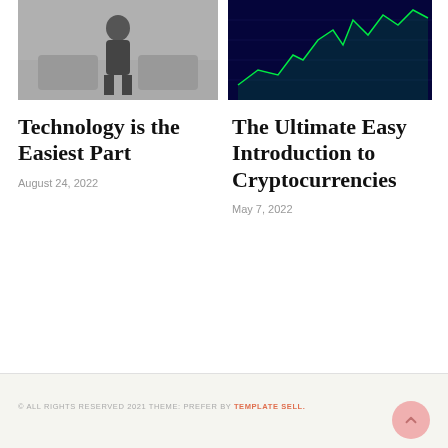[Figure (photo): Black and white photo of a person standing in a room with chairs]
[Figure (photo): Cryptocurrency trading chart on a screen with green candlestick chart on dark blue background]
Technology is the Easiest Part
August 24, 2022
The Ultimate Easy Introduction to Cryptocurrencies
May 7, 2022
© ALL RIGHTS RESERVED 2021 THEME: PREFER BY TEMPLATE SELL.